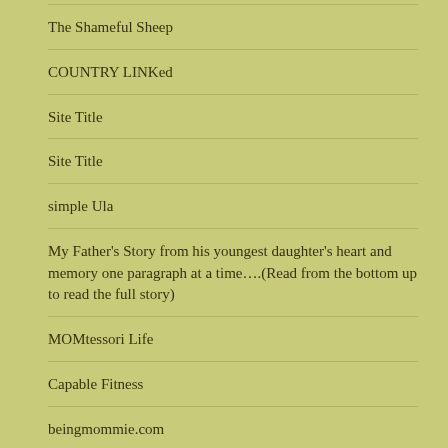The Shameful Sheep
COUNTRY LINKed
Site Title
Site Title
simple Ula
My Father's Story from his youngest daughter's heart and memory one paragraph at a time….(Read from the bottom up to read the full story)
MOMtessori Life
Capable Fitness
beingmommie.com